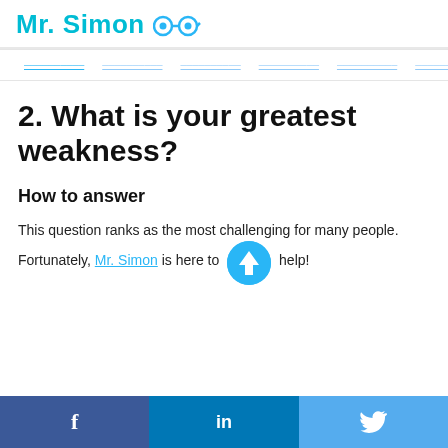Mr. Simon
[Figure (screenshot): Navigation bar with blue underlined links as menu items]
2. What is your greatest weakness?
How to answer
This question ranks as the most challenging for many people. Fortunately, Mr. Simon is here to help!
f  in  (twitter bird icon)